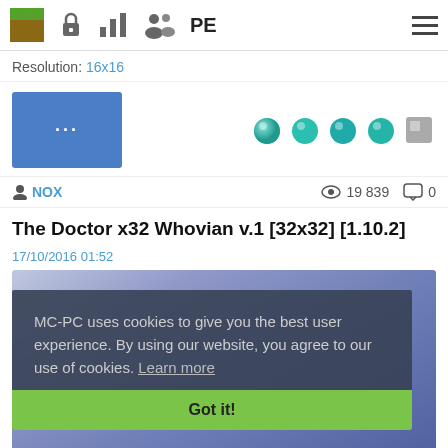Minecraft icon | lock icon | bar chart icon | people icon | PE | hamburger menu
Resolution: 16x16
[Figure (screenshot): Blue button with ellipsis (...) and 4 teal gem icons plus 1 grey gem icon rating]
NOX   19 839   0
The Doctor x32 Whovian v.1 [32x32] [1.10.2]
17/10/2016 01:52
[Figure (screenshot): Game screenshot with cookie consent overlay reading: MC-PC uses cookies to give you the best user experience. By using our website, you agree to our use of cookies. Learn more — with a green Got it! button]